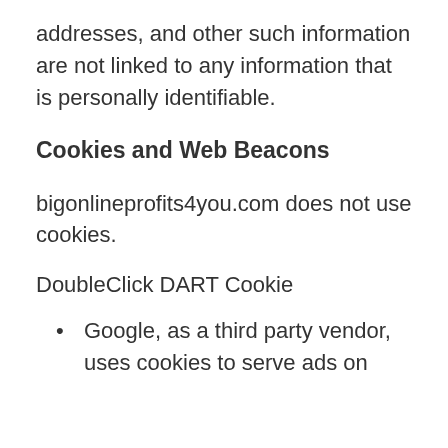addresses, and other such information are not linked to any information that is personally identifiable.
Cookies and Web Beacons
bigonlineprofits4you.com does not use cookies.
DoubleClick DART Cookie
Google, as a third party vendor, uses cookies to serve ads on